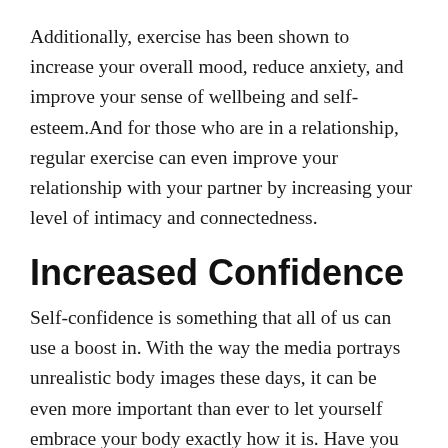Additionally, exercise has been shown to increase your overall mood, reduce anxiety, and improve your sense of wellbeing and self-esteem.And for those who are in a relationship, regular exercise can even improve your relationship with your partner by increasing your level of intimacy and connectedness.
Increased Confidence
Self-confidence is something that all of us can use a boost in. With the way the media portrays unrealistic body images these days, it can be even more important than ever to let yourself embrace your body exactly how it is. Have you ever noticed how confident people seem to be? It's actually something that fitness experts are